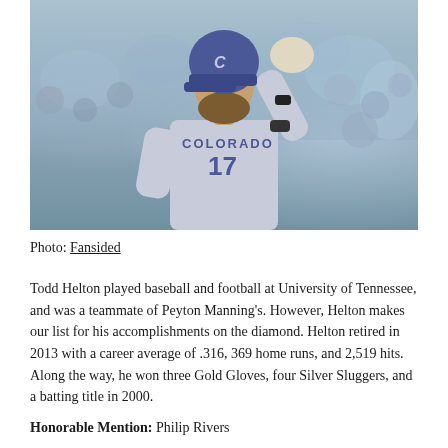[Figure (photo): Baseball player wearing Colorado Rockies #17 jersey and blue helmet, raising one arm/gloved hand toward the crowd in a stadium setting]
Photo: Fansided
Todd Helton played baseball and football at University of Tennessee, and was a teammate of Peyton Manning's. However, Helton makes our list for his accomplishments on the diamond. Helton retired in 2013 with a career average of .316, 369 home runs, and 2,519 hits. Along the way, he won three Gold Gloves, four Silver Sluggers, and a batting title in 2000.
Honorable Mention: Philip Rivers